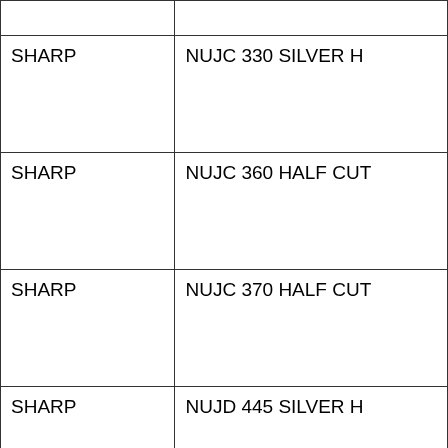| Brand | Model |
| --- | --- |
|  |  |
| SHARP | NUJC 330 SILVER H |
| SHARP | NUJC 360 HALF CUT |
| SHARP | NUJC 370 HALF CUT |
| SHARP | NUJD 445 SILVER H |
| CS WISMAR | EXCELLENT 325M60 FRAME |
| CS WISMAR | EXCELLENT 330M60 FRAME |